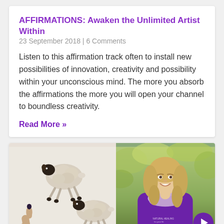AFFIRMATIONS: Awaken the Unlimited Artist Within
23 September 2018 | 6 Comments
Listen to this affirmation track often to install new possibilities of innovation, creativity and possibility within your unconscious mind. The more you absorb the affirmations the more you will open your channel to boundless creativity.
Read More »
[Figure (photo): Two black-faced sheep jumping, a hand pointing upward on the left side, against a light background; next to a photo of a smiling blonde woman in a purple jacket with lavender scarf outdoors with blurred autumn foliage background. A purple circular navigation arrow button overlays the bottom-right corner.]